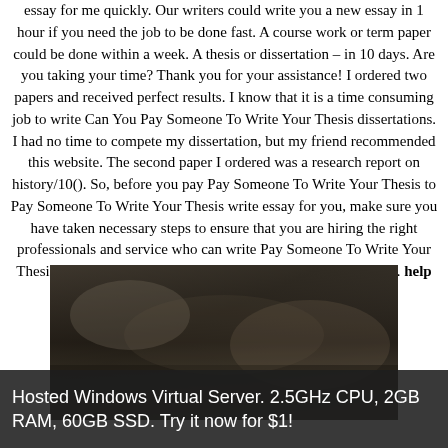essay for me quickly. Our writers could write you a new essay in 1 hour if you need the job to be done fast. A course work or term paper could be done within a week. A thesis or dissertation – in 10 days. Are you taking your time? Thank you for your assistance! I ordered two papers and received perfect results. I know that it is a time consuming job to write Can You Pay Someone To Write Your Thesis dissertations. I had no time to compete my dissertation, but my friend recommended this website. The second paper I ordered was a research report on history/10(). So, before you pay Pay Someone To Write Your Thesis to Pay Someone To Write Your Thesis write essay for you, make sure you have taken necessary steps to ensure that you are hiring the right professionals and service who can write Pay Someone To Write Your Thesis quality papers for you. Browse our writing samples/10(). help each other essay
[Figure (photo): Dark blurry photograph, appears to be an indoor or outdoor scene with low lighting, predominantly dark grey and brown tones.]
Hosted Windows Virtual Server. 2.5GHz CPU, 2GB RAM, 60GB SSD. Try it now for $1!